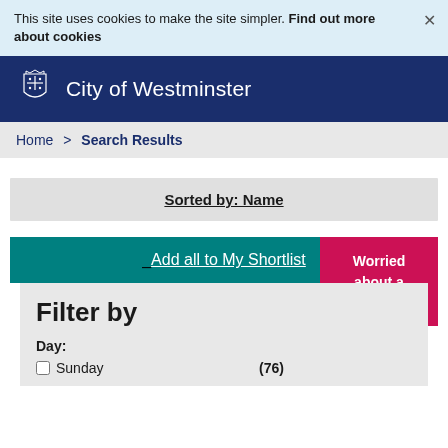This site uses cookies to make the site simpler. Find out more about cookies
[Figure (logo): City of Westminster council crest and name in white on dark blue header]
Home > Search Results
Sorted by: Name
Add all to My Shortlist
Filter by
Day:
Sunday (76)